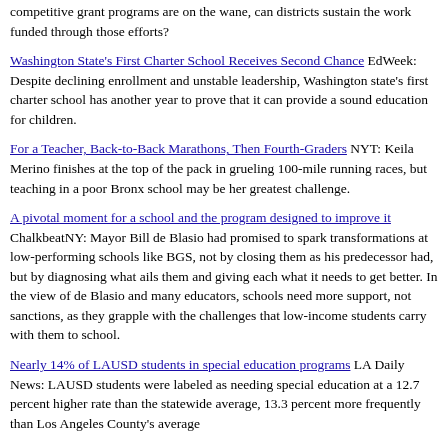competitive grant programs are on the wane, can districts sustain the work funded through those efforts?
Washington State's First Charter School Receives Second Chance EdWeek: Despite declining enrollment and unstable leadership, Washington state's first charter school has another year to prove that it can provide a sound education for children.
For a Teacher, Back-to-Back Marathons, Then Fourth-Graders NYT: Keila Merino finishes at the top of the pack in grueling 100-mile running races, but teaching in a poor Bronx school may be her greatest challenge.
A pivotal moment for a school and the program designed to improve it ChalkbeatNY: Mayor Bill de Blasio had promised to spark transformations at low-performing schools like BGS, not by closing them as his predecessor had, but by diagnosing what ails them and giving each what it needs to get better. In the view of de Blasio and many educators, schools need more support, not sanctions, as they grapple with the challenges that low-income students carry with them to school.
Nearly 14% of LAUSD students in special education programs LA Daily News: LAUSD students were labeled as needing special education at a 12.7 percent higher rate than the statewide average, 13.3 percent more frequently than Los Angeles County's average